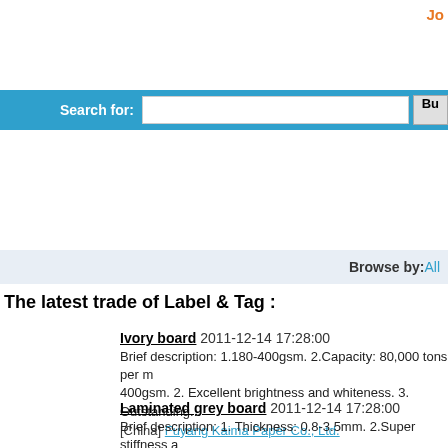Jo
[Figure (screenshot): Search bar with blue background, label 'Search for:' and input field, and a 'Bu' button]
Browse by: All
The latest trade of Label & Tag :
Ivory board 2011-12-14 17:28:00
Brief description: 1.180-400gsm. 2.Capacity: 80,000 tons per m... 400gsm. 2. Excellent brightness and whiteness. 3. Outstanding...
[China] Fuyang Kaima Paper Co., Ltd.
Laminated grey board 2011-12-14 17:28:00
Brief description: 1. Thickness: 0.8-3.5mm. 2.Super stiffness a... month 4.Delivery: 15days ...